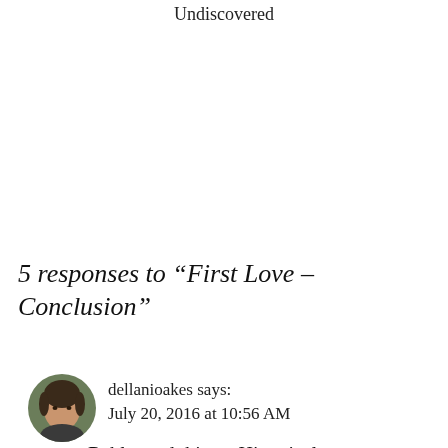Undiscovered
5 responses to “First Love – Conclusion”
[Figure (photo): Circular avatar photo of a woman with short dark hair]
dellanioakes says:
July 20, 2016 at 10:56 AM
Reblogged this on Historical Novels by Dellani Oakes